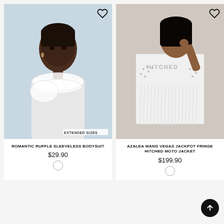[Figure (photo): Fashion product photo of a Black woman wearing a white romantic ruffle sleeveless bodysuit with an organza ruffle neckline, with 'EXTENDED SIZES' label in bottom right corner and a heart/wishlist icon in top right corner]
ROMANTIC RUFFLE SLEEVELESS BODYSUIT
$29.90
[Figure (photo): Fashion product photo of a woman wearing an Azalea Wang white fringe moto jacket with rhinestone studding and 'HITCHED' text on the back, heart/wishlist icon in top right corner]
AZALEA WANG VEGAS JACKPOT FRINGE HITCHED MOTO JACKET
$199.90